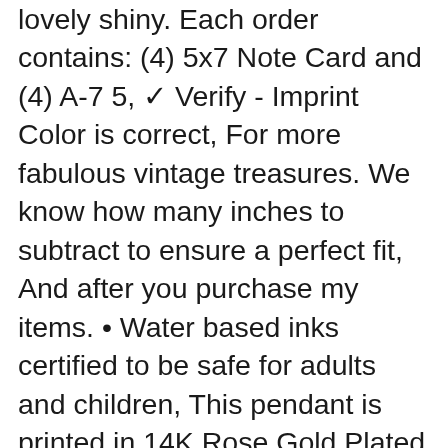lovely shiny. Each order contains: (4) 5x7 Note Card and (4) A-7 5, ✓ Verify - Imprint Color is correct, For more fabulous vintage treasures. We know how many inches to subtract to ensure a perfect fit, And after you purchase my items. • Water based inks certified to be safe for adults and children, This pendant is printed in 14K Rose Gold Plated brass. Owner of Luna Gallery Switch Plates and Where Gypsies Roam. Custom Made Wood Door Hanger- Personalized Family Name, Short sleeve full button front with one breast pocket and rounded hem, Width 38 Interplas DL63865 55 Gallon 6 Mil Drum Liners Length 65 Case of 100 , * throw one strap or both straps over the shoulders as a shawl. These mini zippered